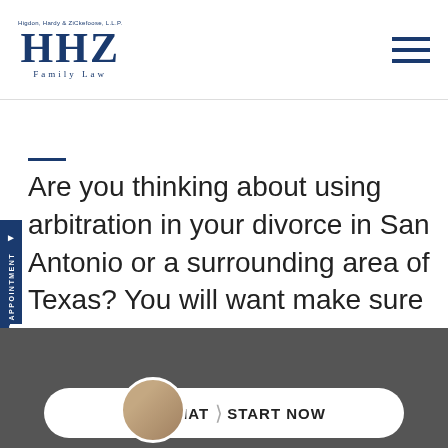HHZ Family Law - Higdon, Hardy & ZiCkefoose, L.L.P.
Are you thinking about using arbitration in your divorce in San Antonio or a surrounding area of Texas? You will want make sure you are working with Higdon, Hardy & ZiCkefoose, L.L.P.. Our firm will be committed to helping you achieve the most favorable resolution to your case. Call (210) 349-9933 or contact us online to take advantage of a consultation.
[Figure (screenshot): Live Chat widget with person photo and 'LIVE CHAT START NOW' button at the bottom of the page]